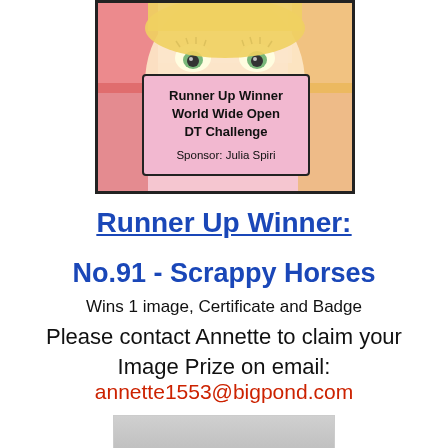[Figure (illustration): Badge image showing illustrated face with blonde hair and large eyes. A pink rectangular label in center reads: Runner Up Winner / World Wide Open / DT Challenge / Sponsor: Julia Spiri]
Runner Up Winner:
No.91 - Scrappy Horses
Wins 1 image, Certificate and Badge
Please contact Annette to claim your Image Prize on email:
annette1553@bigpond.com
[Figure (photo): Partial photo at bottom of page, cropped]